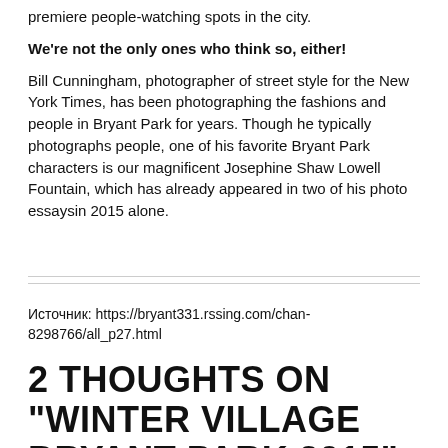premiere people-watching spots in the city.
We’re not the only ones who think so, either!
Bill Cunningham, photographer of street style for the New York Times, has been photographing the fashions and people in Bryant Park for years. Though he typically photographs people, one of his favorite Bryant Park characters is our magnificent Josephine Shaw Lowell Fountain, which has already appeared in two of his photo essaysin 2015 alone.
Источник: https://bryant331.rssing.com/chan-8298766/all_p27.html
2 THOUGHTS ON “WINTER VILLAGE BRYANT PARK 2015”